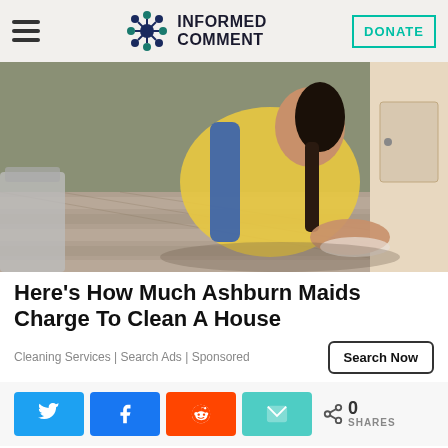INFORMED COMMENT | DONATE
[Figure (photo): Woman in yellow shirt cleaning hardwood floor on hands and knees with a cloth, viewed from above in a home hallway]
Here's How Much Ashburn Maids Charge To Clean A House
Cleaning Services | Search Ads | Sponsored
Search Now
0 SHARES